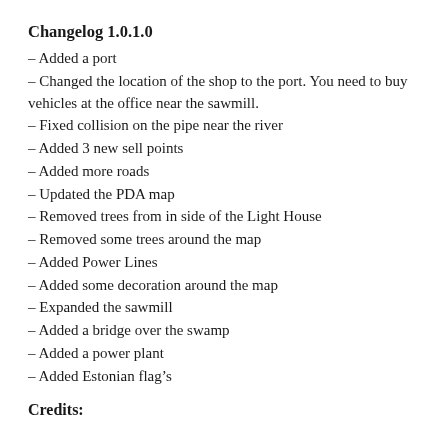Changelog 1.0.1.0
– Added a port
– Changed the location of the shop to the port. You need to buy vehicles at the office near the sawmill.
– Fixed collision on the pipe near the river
– Added 3 new sell points
– Added more roads
– Updated the PDA map
– Removed trees from in side of the Light House
– Removed some trees around the map
– Added Power Lines
– Added some decoration around the map
– Expanded the sawmill
– Added a bridge over the swamp
– Added a power plant
– Added Estonian flag’s
Credits: